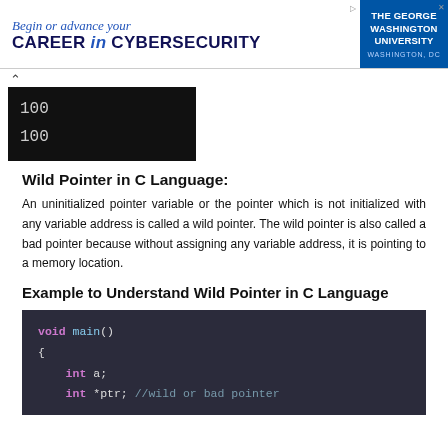[Figure (infographic): Advertisement banner: 'Begin or advance your CAREER in CYBERSECURITY' with The George Washington University logo on right side, Washington DC]
[Figure (screenshot): Terminal output showing two lines: 100 and 100 on black background, with a caret/arrow symbol above]
Wild Pointer in C Language:
An uninitialized pointer variable or the pointer which is not initialized with any variable address is called a wild pointer. The wild pointer is also called a bad pointer because without assigning any variable address, it is pointing to a memory location.
Example to Understand Wild Pointer in C Language
[Figure (screenshot): Dark-themed code editor screenshot showing C code: void main() { int a; int *ptr; //wild or bad pointer]